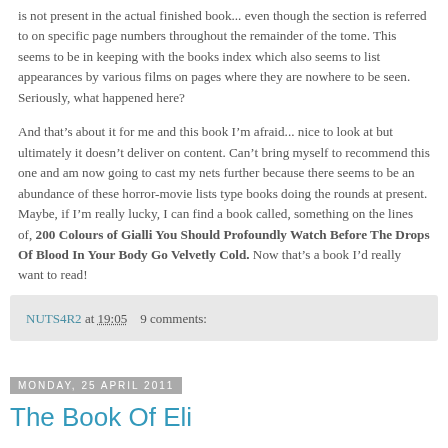is not present in the actual finished book... even though the section is referred to on specific page numbers throughout the remainder of the tome. This seems to be in keeping with the books index which also seems to list appearances by various films on pages where they are nowhere to be seen. Seriously, what happened here?
And that’s about it for me and this book I’m afraid... nice to look at but ultimately it doesn’t deliver on content. Can’t bring myself to recommend this one and am now going to cast my nets further because there seems to be an abundance of these horror-movie lists type books doing the rounds at present. Maybe, if I’m really lucky, I can find a book called, something on the lines of, 200 Colours of Gialli You Should Profoundly Watch Before The Drops Of Blood In Your Body Go Velvetly Cold. Now that’s a book I’d really want to read!
NUTS4R2 at 19:05   9 comments:
Monday, 25 April 2011
The Book Of Eli